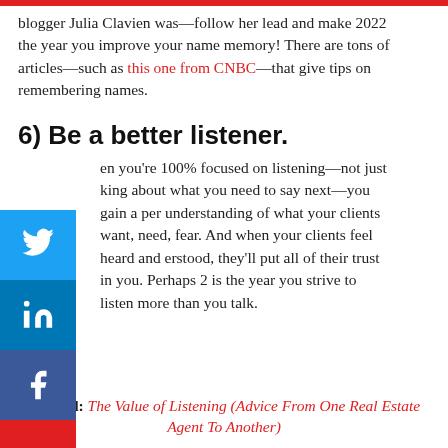blogger Julia Clavien was—follow her lead and make 2022 the year you improve your name memory! There are tons of articles—such as this one from CNBC—that give tips on remembering names.
6) Be a better listener.
When you're 100% focused on listening—not just thinking about what you need to say next—you gain a deeper understanding of what your clients want, need, and fear. And when your clients feel heard and understood, they'll put all of their trust in you. Perhaps 2022 is the year you strive to listen more than you talk.
Related: The Value of Listening (Advice From One Real Estate Agent To Another)